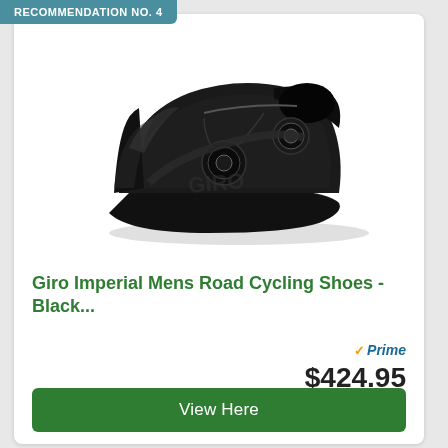RECOMMENDATION NO. 4
[Figure (photo): Black Giro Imperial mens road cycling shoe with dual BOA dial closures, shown in side profile view against white background]
Giro Imperial Mens Road Cycling Shoes - Black...
Prime $424.95
View Here